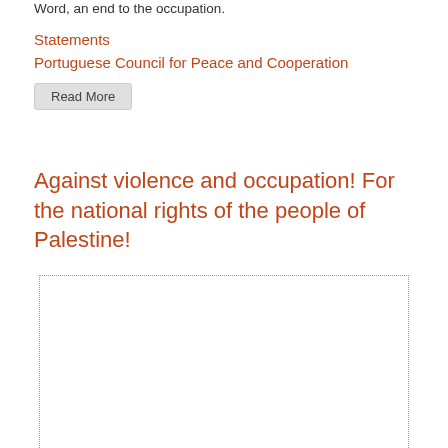Word, an end to the occupation.
Statements
Portuguese Council for Peace and Cooperation
Read More
Against violence and occupation! For the national rights of the people of Palestine!
[Figure (other): Dotted border empty image placeholder box]